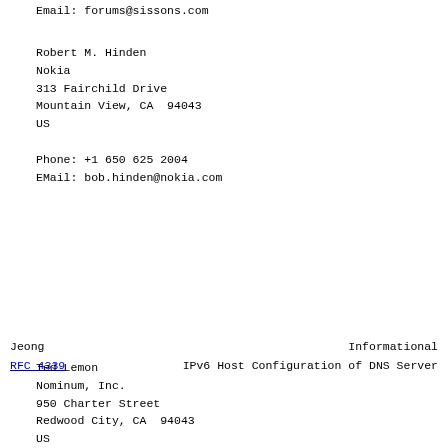Email: forums@sissons.com
Robert M. Hinden
Nokia
313 Fairchild Drive
Mountain View, CA  94043
US

Phone: +1 650 625 2004
EMail: bob.hinden@nokia.com
Jeong                                         Informational
RFC 4339              IPv6 Host Configuration of DNS Server
Ted Lemon
Nominum, Inc.
950 Charter Street
Redwood City, CA  94043
US